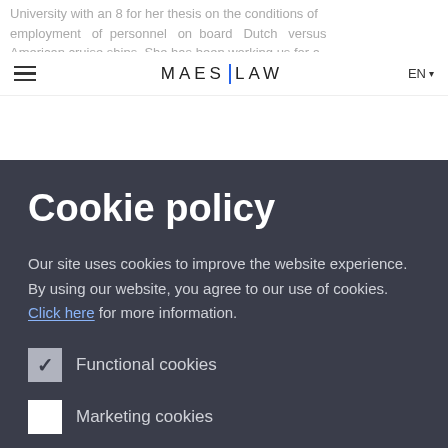University with an 8 for her thesis on the conditions of employment of personnel on board Dutch versus American cruise ships. She has been working us for a
MAES LAW — EN
Cookie policy
Our site uses cookies to improve the website experience. By using our website, you agree to our use of cookies. Click here for more information.
Functional cookies
Marketing cookies
Save preferences
Accept all & close